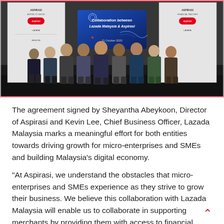[Figure (photo): Group photo of several people standing together in front of pull-up banners. One person in the center holds a blue sign reading 'Collaboration between Lazada Malaysia & Aspirasi, 21 October 2020'. The background features branded banners.]
The agreement signed by Sheyantha Abeykoon, Director of Aspirasi and Kevin Lee, Chief Business Officer, Lazada Malaysia marks a meaningful effort for both entities towards driving growth for micro-enterprises and SMEs and building Malaysia's digital economy.
"At Aspirasi, we understand the obstacles that micro-enterprises and SMEs experience as they strive to grow their business. We believe this collaboration with Lazada Malaysia will enable us to collaborate in supporting merchants by providing them with access to financial